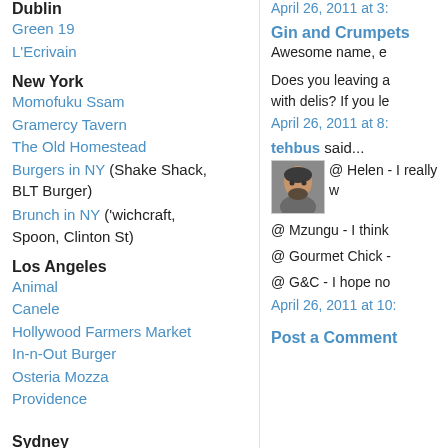Dublin
Green 19
L'Ecrivain
New York
Momofuku Ssam
Gramercy Tavern
The Old Homestead
Burgers in NY (Shake Shack, BLT Burger)
Brunch in NY ('wichcraft, Spoon, Clinton St)
Los Angeles
Animal
Canele
Hollywood Farmers Market
In-n-Out Burger
Osteria Mozza
Providence
Sydney
Churrasco (Brazilian)
Hilltop Pheonix (Dim Sum)
Melbourne
A guide
April 26, 2011 at 3:
Gin and Crumpets
Awesome name, e
Does you leaving a with delis? If you le
April 26, 2011 at 8:
tehbus said...
[Figure (photo): Avatar photo of tehbus, a person with facial hair]
@ Helen - I really w
@ Mzungu - I think
@ Gourmet Chick -
@ G&C - I hope no
April 26, 2011 at 10:
Post a Comment